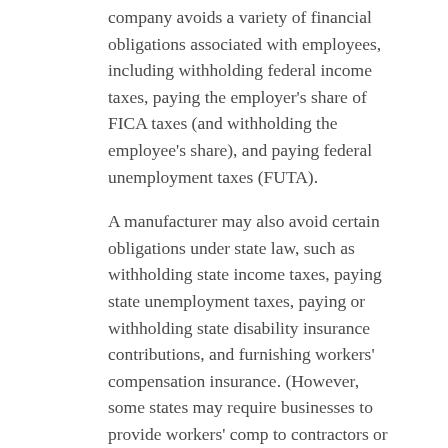company avoids a variety of financial obligations associated with employees, including withholding federal income taxes, paying the employer's share of FICA taxes (and withholding the employee's share), and paying federal unemployment taxes (FUTA).
A manufacturer may also avoid certain obligations under state law, such as withholding state income taxes, paying state unemployment taxes, paying or withholding state disability insurance contributions, and furnishing workers' compensation insurance. (However, some states may require businesses to provide workers' comp to contractors or pay unemployment tax on amounts paid to contractors in certain situations.)
In addition, contractors aren't entitled to employee benefits, minimum wages, overtime and other rights enjoyed by employees.
Why it matters